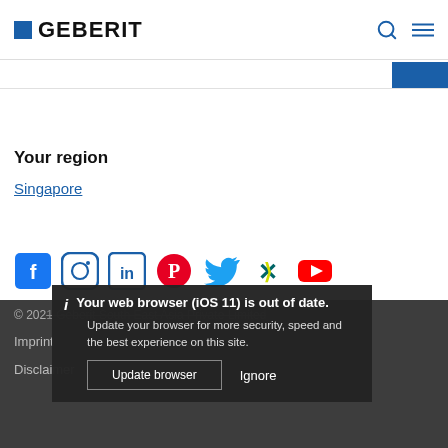GEBERIT
Your region
Singapore
[Figure (other): Row of social media icons: Facebook, Instagram, LinkedIn, Pinterest, Twitter, Xing, YouTube]
© 2021 Geberit South East Asia Private Limited
Imprint
Disclaimer
i Your web browser (iOS 11) is out of date. Update your browser for more security, speed and the best experience on this site.
Update browser   Ignore